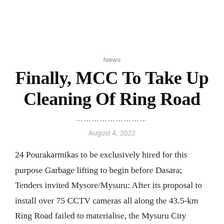News
Finally, MCC To Take Up Cleaning Of Ring Road
August 4, 2022
24 Pourakarmikas to be exclusively hired for this purpose Garbage lifting to begin before Dasara; Tenders invited Mysore/Mysuru: After its proposal to install over 75 CCTV cameras all along the 43.5-km Ring Road failed to materialise, the Mysuru City Corporation (MCC) has now decided to hire a team of dedicated